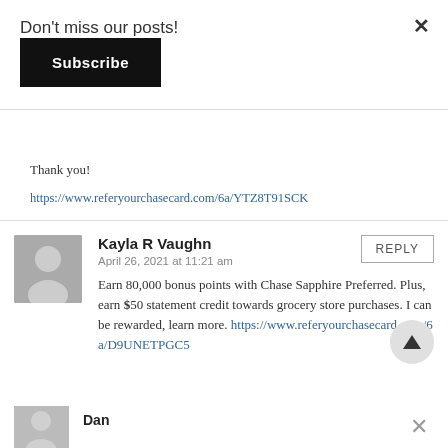Don't miss our posts!
Subscribe
Thank you!
https://www.referyourchasecard.com/6a/YTZ8T91SCK
Kayla R Vaughn
April 26, 2021 at 11:21 am
Earn 80,000 bonus points with Chase Sapphire Preferred. Plus, earn $50 statement credit towards grocery store purchases. I can be rewarded, learn more. https://www.referyourchasecard.com/6a/D9UNETPGC5
Dan